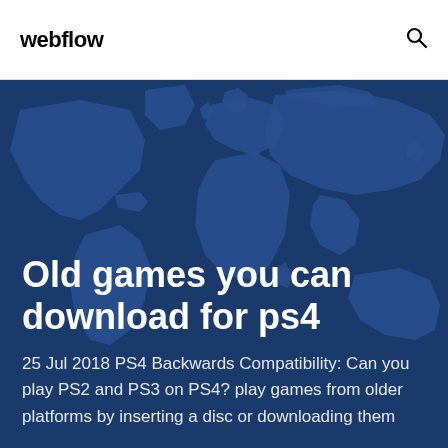webflow
[Figure (illustration): World map silhouette in dark blue tones used as hero background image]
Old games you can download for ps4
25 Jul 2018 PS4 Backwards Compatibility: Can you play PS2 and PS3 on PS4? play games from older platforms by inserting a disc or downloading them